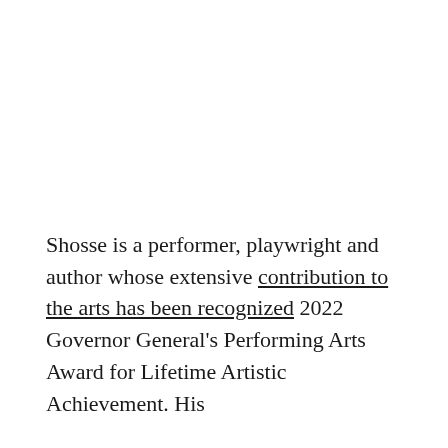Shosse is a performer, playwright and author whose extensive contribution to the arts has been recognized 2022 Governor General's Performing Arts Award for Lifetime Artistic Achievement. His